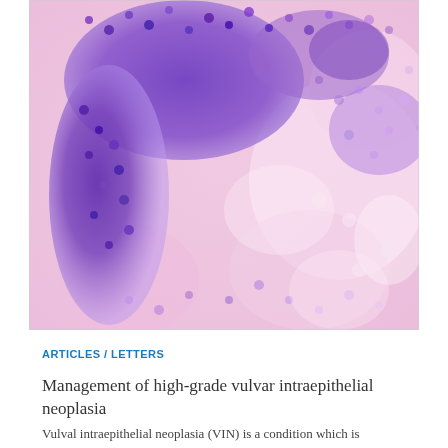[Figure (photo): Histological microscopy image showing vulvar intraepithelial neoplasia tissue section. H&E stained slide showing dense clusters of purple-stained nuclei (high-grade dysplastic cells) against a pink stromal background. Characteristic nesting pattern of darkly stained epithelial cells visible with surrounding pale pink connective tissue.]
ARTICLES / LETTERS
Management of high-grade vulvar intraepithelial neoplasia
Vulval intraepithelial neoplasia (VIN) is a condition which is